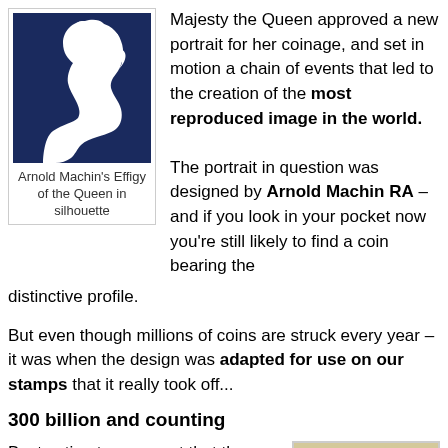[Figure (illustration): White silhouette of Queen Elizabeth II profile on dark navy blue background]
Arnold Machin's Effigy of the Queen in silhouette
Majesty the Queen approved a new portrait for her coinage, and set in motion a chain of events that led to the creation of the most reproduced image in the world.
The portrait in question was designed by Arnold Machin RA – and if you look in your pocket now you're still likely to find a coin bearing the distinctive profile.
But even though millions of coins are struck every year – it was when the design was adapted for use on our stamps that it really took off...
300 billion and counting
Best estimates suggest that the Arnold Machin
[Figure (photo): A postage stamp showing dark navy blue Machin portrait design with decorative border]